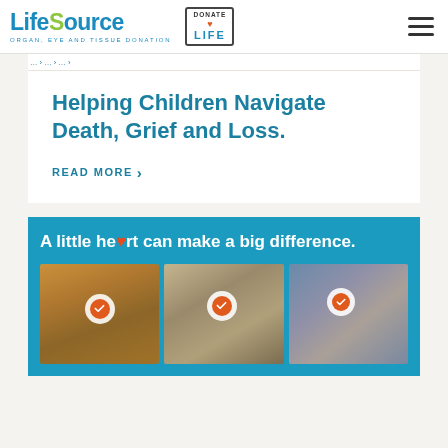LifeSource ORGAN, EYE AND TISSUE DONATION — DONATE LIFE
Helping Children Navigate Death, Grief and Loss.
READ MORE >
[Figure (infographic): Blue banner with text 'A little heart can make a big difference.' and three photos of people holding small heart-shaped Donate Life stickers]
A little heart can make a big difference.